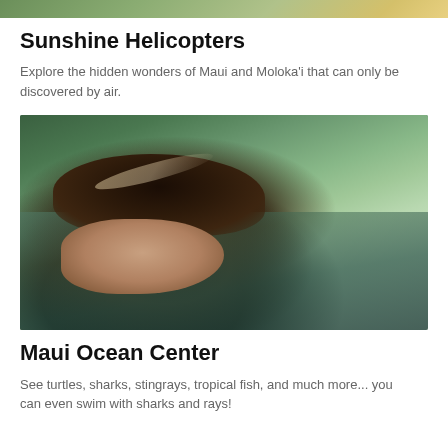[Figure (photo): Aerial/landscape photo partially visible at top of page, cropped]
Sunshine Helicopters
Explore the hidden wonders of Maui and Molokaʻi that can only be discovered by air.
[Figure (photo): Close-up photo of a woman with long dark hair with highlights, smiling, outdoors near a rocky stream or waterfall]
Maui Ocean Center
See turtles, sharks, stingrays, tropical fish, and much more... you can even swim with sharks and rays!